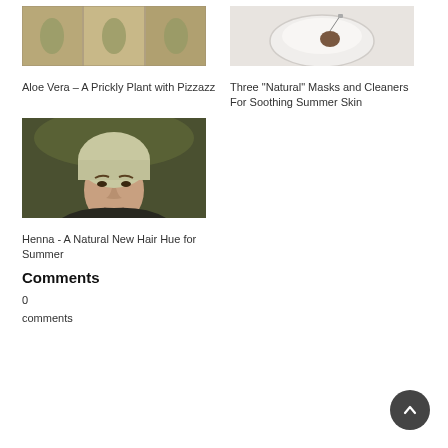[Figure (photo): Photo of aloe vera plant sections arranged in a grid pattern]
Aloe Vera – A Prickly Plant with Pizzazz
[Figure (photo): Photo of a white bowl with a tea bag or dark liquid]
Three "Natural" Masks and Cleaners For Soothing Summer Skin
[Figure (photo): Photo of a young man with light hair looking at camera]
Henna - A Natural New Hair Hue for Summer
Comments
0
comments